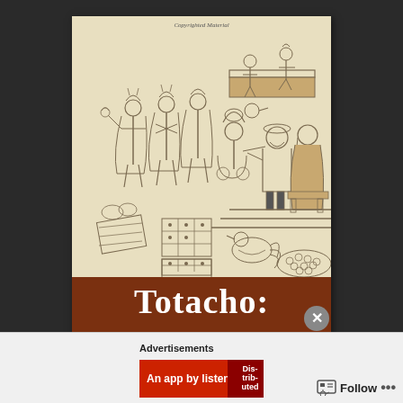[Figure (illustration): Book cover showing a historical Aztec/Mesoamerican codex-style illustration of indigenous figures presenting offerings to a Spanish conquistador and a woman (La Malinche), with goods and birds in the lower portion. The background is pale parchment colored.]
Copyrighted Material
Totacho:
Advertisements
An app by listeners,
Pocket Casts
Follow
...